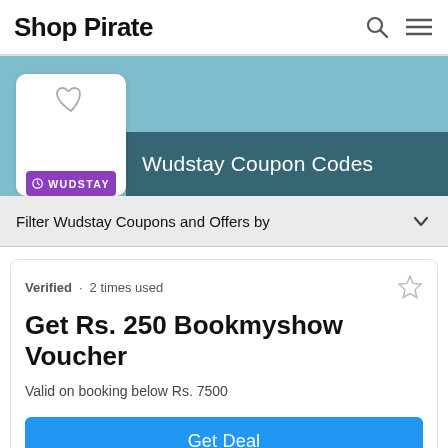Shop Pirate
Wudstay Coupon Codes
Filter Wudstay Coupons and Offers by
Verified · 2 times used
Get Rs. 250 Bookmyshow Voucher
Valid on booking below Rs. 7500
Get Deal